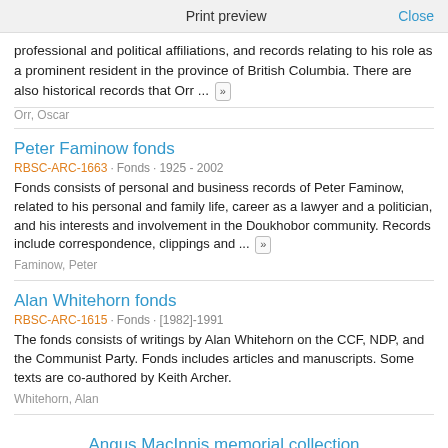Print preview   Close
professional and political affiliations, and records relating to his role as a prominent resident in the province of British Columbia. There are also historical records that Orr ... »
Orr, Oscar
Peter Faminow fonds
RBSC-ARC-1663 · Fonds · 1925 - 2002
Fonds consists of personal and business records of Peter Faminow, related to his personal and family life, career as a lawyer and a politician, and his interests and involvement in the Doukhobor community. Records include correspondence, clippings and ... »
Faminow, Peter
Alan Whitehorn fonds
RBSC-ARC-1615 · Fonds · [1982]-1991
The fonds consists of writings by Alan Whitehorn on the CCF, NDP, and the Communist Party. Fonds includes articles and manuscripts. Some texts are co-authored by Keith Archer.
Whitehorn, Alan
Angus MacInnis memorial collection